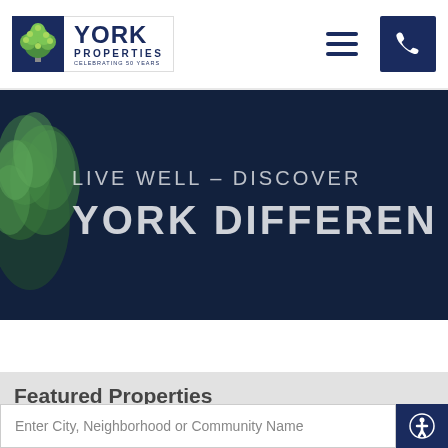[Figure (logo): York Properties logo with tree icon and text 'YORK PROPERTIES CELEBRATING 50 YEARS']
[Figure (illustration): Hamburger menu icon (three horizontal lines)]
[Figure (illustration): Phone icon button in dark navy square]
[Figure (photo): Hero banner with dark navy background, tree illustration on left, text: 'LIVE WELL – DISCOVER' and 'YORK DIFFEREN' (cropped)]
Featured Properties
Enter City, Neighborhood or Community Name